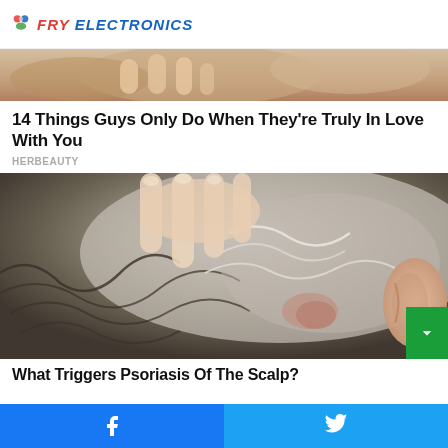FRY ELECTRONICS
[Figure (photo): Partial view of hands/skin, top of page, cropped]
14 Things Guys Only Do When They're Truly In Love With You
HERBEAUTY
[Figure (photo): Close-up photo of a person's scalp with psoriasis, hands scratching the back of the head near the ear, gray hair visible]
What Triggers Psoriasis Of The Scalp?